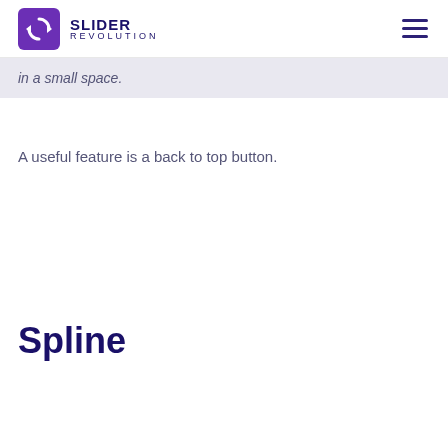SLIDER REVOLUTION
in a small space.
A useful feature is a back to top button.
Spline